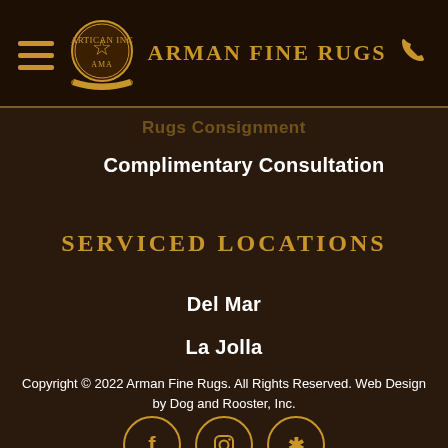ARMAN FINE RUGS
Rugs Consignment
Complimentary Consultation
SERVICED LOCATIONS
Del Mar
La Jolla
Copyright © 2022 Arman Fine Rugs. All Rights Reserved. Web Design by Dog and Rooster, Inc.
[Figure (illustration): Social media icons: Facebook, Instagram, Yelp in gold circles]